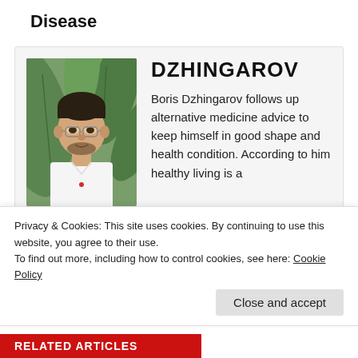Disease
[Figure (photo): Portrait photo of Boris Dzhingarov, a young man with glasses wearing a white shirt, in front of green tropical plant background]
DZHINGAROV
Boris Dzhingarov follows up alternative medicine advice to keep himself in good shape and health condition. According to him healthy living is a matter of choice and...
Privacy & Cookies: This site uses cookies. By continuing to use this website, you agree to their use.
To find out more, including how to control cookies, see here: Cookie Policy
Close and accept
RELATED ARTICLES